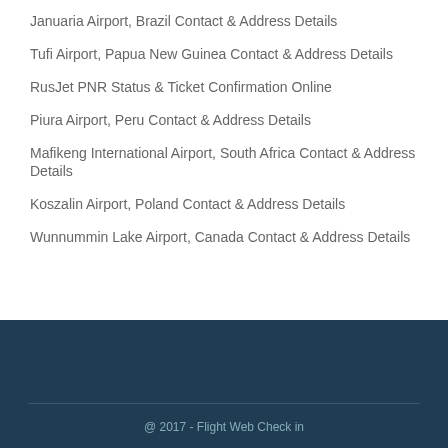Januaria Airport, Brazil Contact & Address Details
Tufi Airport, Papua New Guinea Contact & Address Details
RusJet PNR Status & Ticket Confirmation Online
Piura Airport, Peru Contact & Address Details
Mafikeng International Airport, South Africa Contact & Address Details
Koszalin Airport, Poland Contact & Address Details
Wunnummin Lake Airport, Canada Contact & Address Details
@ 2017 - Flight Web Check in